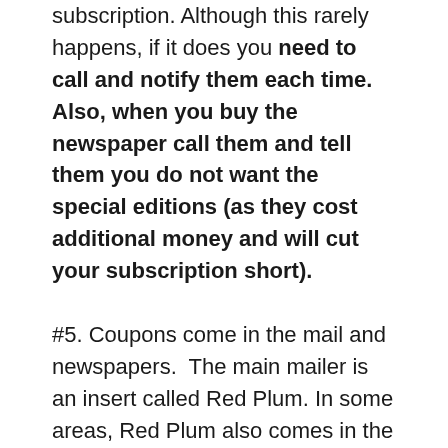subscription. Although this rarely happens, if it does you need to call and notify them each time. Also, when you buy the newspaper call them and tell them you do not want the special editions (as they cost additional money and will cut your subscription short).
#5. Coupons come in the mail and newspapers.  The main mailer is an insert called Red Plum. In some areas, Red Plum also comes in the Sunday papers. The abbreviation used for Red Plum on